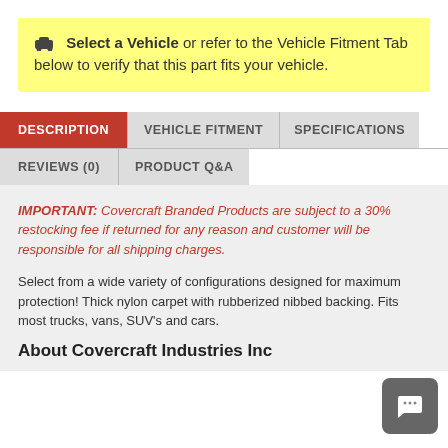🚗 Select a Vehicle or refer to the Vehicle Fitment Tab below to verify that this part fits your vehicle.
DESCRIPTION | VEHICLE FITMENT | SPECIFICATIONS | REVIEWS (0) | PRODUCT Q&A
IMPORTANT: Covercraft Branded Products are subject to a 30% restocking fee if returned for any reason and customer will be responsible for all shipping charges.
Select from a wide variety of configurations designed for maximum protection! Thick nylon carpet with rubberized nibbed backing. Fits most trucks, vans, SUV's and cars.
About Covercraft Industries Inc